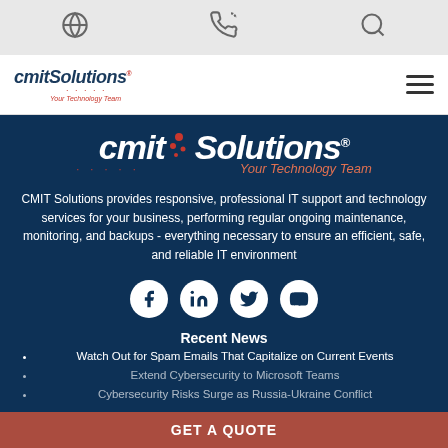CMIT Solutions website header with globe, phone, and search icons
[Figure (logo): CMIT Solutions logo with 'Your Technology Team' tagline in navigation bar]
[Figure (logo): Large CMIT Solutions logo on dark blue background with 'Your Technology Team' tagline]
CMIT Solutions provides responsive, professional IT support and technology services for your business, performing regular ongoing maintenance, monitoring, and backups - everything necessary to ensure an efficient, safe, and reliable IT environment
[Figure (infographic): Social media icons row: Facebook, LinkedIn, Twitter, YouTube]
Recent News
Watch Out for Spam Emails That Capitalize on Current Events
Extend Cybersecurity to Microsoft Teams
Cybersecurity Risks Surge as Russia-Ukraine Conflict...